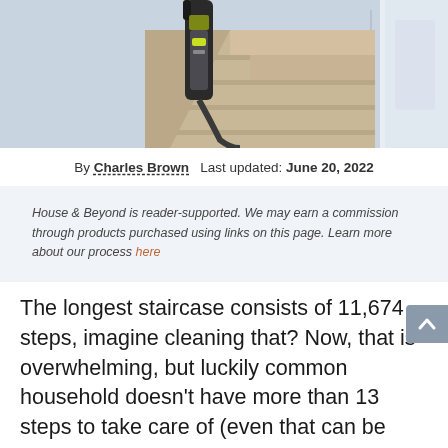[Figure (photo): Photo of a vacuum cleaner being used on carpeted stairs, partially cropped at top of page]
By Charles Brown   Last updated: June 20, 2022
House & Beyond is reader-supported. We may earn a commission through products purchased using links on this page. Learn more about our process here
The longest staircase consists of 11,674 steps, imagine cleaning that? Now, that is overwhelming, but luckily common household doesn't have more than 13 steps to take care of (even that can be frustrating with the wrong vacuum cleaner). We are here to make your life much easier and help you